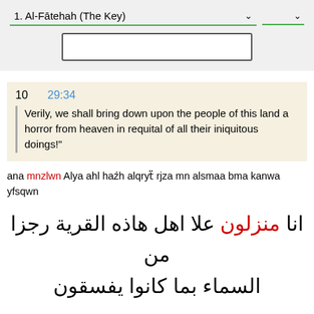1. Al-Fātehah (The Key)
[Figure (screenshot): Search input box, empty]
10    29:34
Verily, we shall bring down upon the people of this land a horror from heaven in requital of all their iniquitous doings!"
ana mnzlwn Alya ahl hazh alqryt rjza mn alsmaa bma kanwa yfsqwn
انا منزلون علا اهل هاذه القرية رجزا من السماء بما كانوا يفسقون